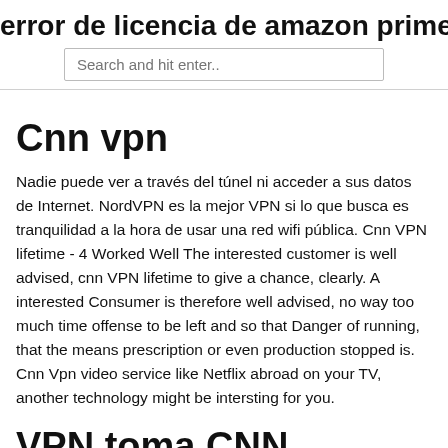error de licencia de amazon prime
Search and hit enter..
Cnn vpn
Nadie puede ver a través del túnel ni acceder a sus datos de Internet. NordVPN es la mejor VPN si lo que busca es tranquilidad a la hora de usar una red wifi pública. Cnn VPN lifetime - 4 Worked Well The interested customer is well advised, cnn VPN lifetime to give a chance, clearly. A interested Consumer is therefore well advised, no way too much time offense to be left and so that Danger of running, that the means prescription or even production stopped is. Cnn Vpn video service like Netflix abroad on your TV, another technology might be intersting for you.
VPN toma CNN